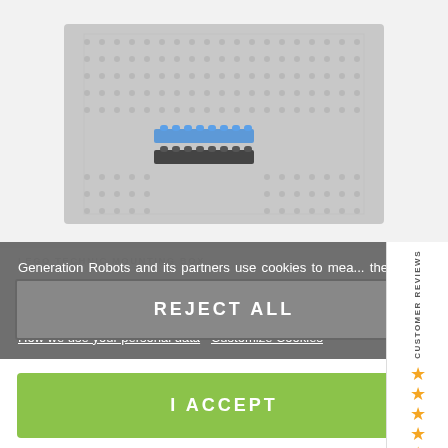[Figure (photo): Product image showing a grey LEGO-style baseplate with blue and dark grey brick strips on a white background]
LEGO TECHNIC MOUNTING BOX
Put a Different product
Generation Robots and its partners use cookies to mea... the audience and to improve your browsing experie... Some cookies are necessary for the smooth running of... website. You can revok your consent to accept cookie... anytime in "My Account".
How we use your personal data   Customize Cookies
REJECT ALL
I ACCEPT